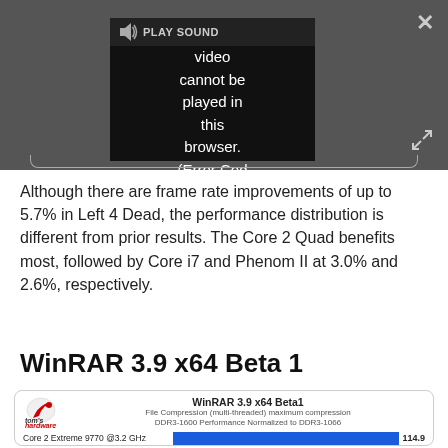[Figure (screenshot): Video player showing error message: 'Video cannot be played in this browser. (Error Cod' with PLAY SOUND button, close X button, and expand button. Dark grey background.]
Although there are frame rate improvements of up to 5.7% in Left 4 Dead, the performance distribution is different from prior results. The Core 2 Quad benefits most, followed by Core i7 and Phenom II at 3.0% and 2.6%, respectively.
WinRAR 3.9 x64 Beta 1
[Figure (screenshot): Tom's Hardware chart header for WinRAR 3.9 x64 Beta1, File Compression (multi-threaded) maximum compression, DDR3-1600 Performance Normalized to DDR3-1066. Shows one bar: Core 2 Extreme 9770 @3.2 GHz = 114.9]